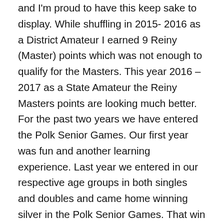and I'm proud to have this keep sake to display. While shuffling in 2015- 2016 as a District Amateur I earned 9 Reiny (Master) points which was not enough to qualify for the Masters. This year 2016 – 2017 as a State Amateur the Reiny Masters points are looking much better. For the past two years we have entered the Polk Senior Games. Our first year was fun and another learning experience. Last year we entered in our respective age groups in both singles and doubles and came home winning silver in the Polk Senior Games. That win qualified us to enter into the Florida State Championships held at the Clearwater Courts in Dec. 2016. We attended, and Dorothy won Gold in her age group in singles, and we won Bronze in Doubles. Now we find out we have both qualified to participate in the 2017 National Senior Games held at Birmingham, Alabama. June 2 – 15, 2017. We are unable to attend the Nationals because of the 182 day limit in